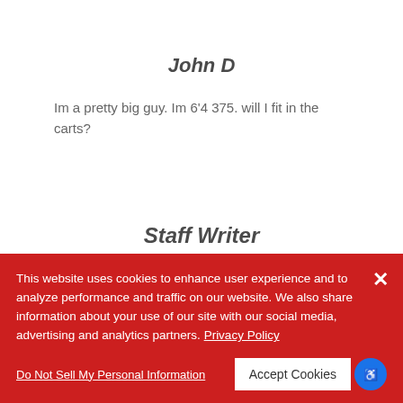John D
Im a pretty big guy. Im 6'4 375. will I fit in the carts?
Staff Writer
Hello, John! That's tough to answer –
This website uses cookies to enhance user experience and to analyze performance and traffic on our website. We also share information about your use of our site with our social media, advertising and analytics partners. Privacy Policy
Do Not Sell My Personal Information
Accept Cookies